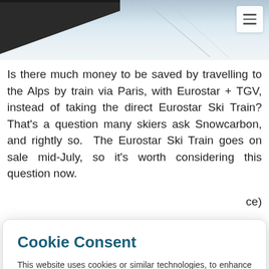[Figure (photo): Snowy mountain/ski slope scene viewed from above, with dark ski lift or rail structure visible at top left. Hamburger menu icon in top right corner.]
Is there much money to be saved by travelling to the Alps by train via Paris, with Eurostar + TGV, instead of taking the direct Eurostar Ski Train? That's a question many skiers ask Snowcarbon, and rightly so.  The Eurostar Ski Train goes on sale mid-July, so it's worth considering this question now.
Cookie Consent

This website uses cookies or similar technologies, to enhance your browsing experience and provide personalized recommendations. By continuing to use our website, you agree to our Privacy Policy

Accept